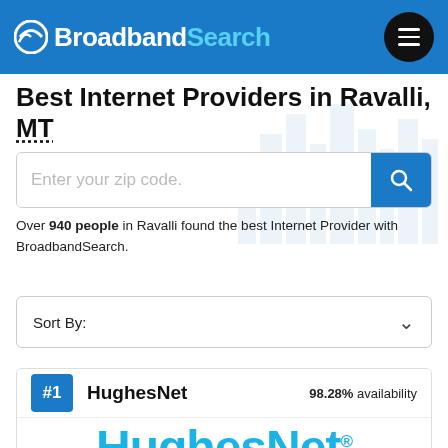Broadband Search
Best Internet Providers in Ravalli, MT
Over 940 people in Ravalli found the best Internet Provider with BroadbandSearch.
Sort By:
#1 HughesNet 98.28% availability
[Figure (logo): HughesNet logo in large cyan/blue text]
Speed up to:    Price from:    User Review: